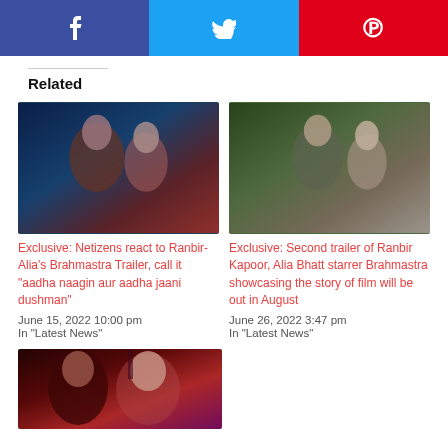Social share buttons: Facebook, Twitter, Pinterest
Related
[Figure (photo): Couple romantic scene from Brahmastra movie]
Exclusive: Netizens react to Ranbir-Alia's Brahmastra Trailer, call it "aadha naagin aur aadha jaani dushman"
June 15, 2022 10:00 pm
In "Latest News"
[Figure (photo): Ranbir Kapoor and Alia Bhatt in outdoor scene from Brahmastra]
Exclusive: Second trailer of Ranbir Kapoor, Alia Bhatt starrer Brahmastra showcasing the story of film will be out in August
June 26, 2022 3:47 pm
In "Latest News"
[Figure (photo): Dark fantasy characters from Brahmastra movie poster]